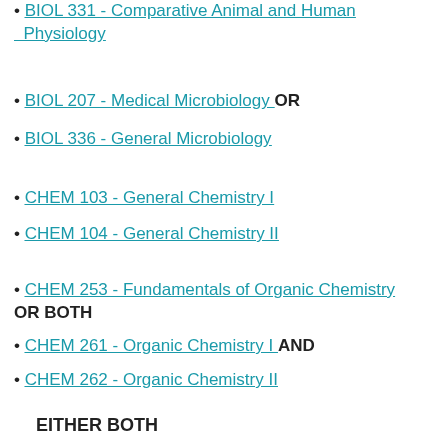BIOL 331 - Comparative Animal and Human Physiology
BIOL 207 - Medical Microbiology OR
BIOL 336 - General Microbiology
CHEM 103 - General Chemistry I
CHEM 104 - General Chemistry II
CHEM 253 - Fundamentals of Organic Chemistry OR BOTH
CHEM 261 - Organic Chemistry I AND
CHEM 262 - Organic Chemistry II
EITHER BOTH
PHYS 221 - General Physics AND
PHYS 222 - General Physics OR BOTH